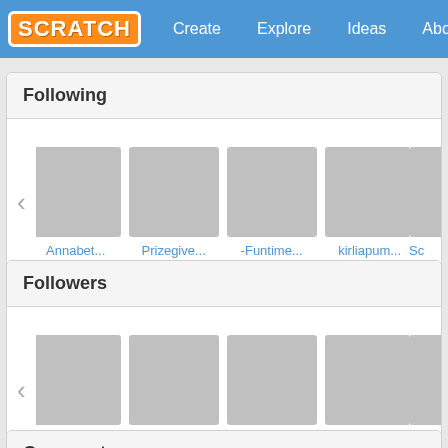SCRATCH | Create | Explore | Ideas | About | Search
Following
[Figure (screenshot): Row of user avatar placeholders (grey squares) for Following section: Annabet..., Prizegive..., -Funtime..., kirliapum..., Sc...]
Followers
[Figure (screenshot): Row of user avatar placeholders (grey squares) for Followers section: quinnlyn..., Annabet..., _Roblox..., sponsors..., lav...]
Comments